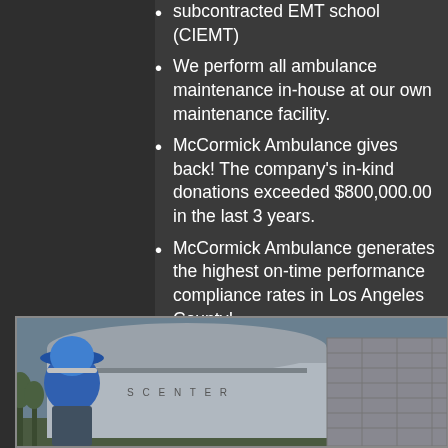subcontracted EMT school (CIEMT)
We perform all ambulance maintenance in-house at our own maintenance facility.
McCormick Ambulance gives back! The company's in-kind donations exceeded $800,000.00 in the last 3 years.
McCormick Ambulance generates the highest on-time performance compliance rates in Los Angeles County!
We were essentially the EMS provider for the city of New Orleans for 31 days following hurricane Katrina. this was done free of charge.
[Figure (photo): Photo showing a firefighter in a blue helmet and a building labeled 'SPORTS CENTER' or similar civic building]